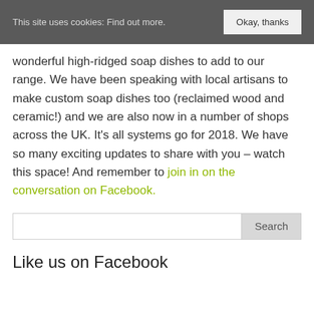This site uses cookies: Find out more.   Okay, thanks
wonderful high-ridged soap dishes to add to our range. We have been speaking with local artisans to make custom soap dishes too (reclaimed wood and ceramic!) and we are also now in a number of shops across the UK. It’s all systems go for 2018. We have so many exciting updates to share with you – watch this space! And remember to join in on the conversation on Facebook.
Search
Like us on Facebook